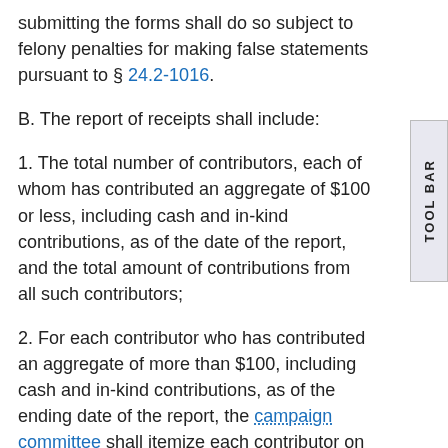submitting the forms shall do so subject to felony penalties for making false statements pursuant to § 24.2-1016.
B. The report of receipts shall include:
1. The total number of contributors, each of whom has contributed an aggregate of $100 or less, including cash and in-kind contributions, as of the date of the report, and the total amount of contributions from all such contributors;
2. For each contributor who has contributed an aggregate of more than $100, including cash and in-kind contributions, as of the ending date of the report, the campaign committee shall itemize each contributor on the report and list the following information:
a. the name of the contributor, listed alphabetically,